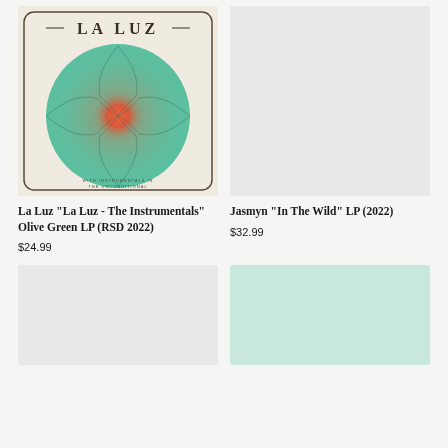[Figure (illustration): Album cover for La Luz - The Instrumentals, featuring a teal circle with an orange/red center and decorative patterns on a cream background with LA LUZ text at top]
La Luz "La Luz - The Instrumentals" Olive Green LP (RSD 2022)
$24.99
[Figure (illustration): Placeholder gray image for Jasmyn In The Wild LP]
Jasmyn "In The Wild" LP (2022)
$32.99
[Figure (illustration): Placeholder light gray image - bottom left product]
[Figure (illustration): Placeholder teal/mint image - bottom right product]